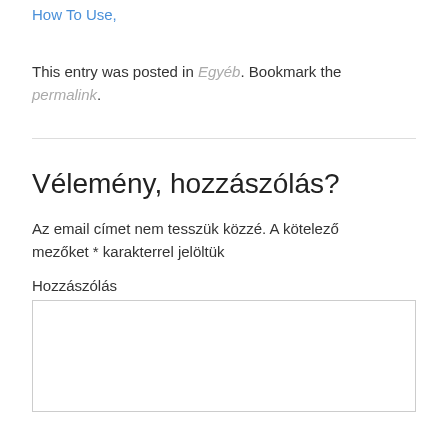How To Use,
This entry was posted in Egyéb. Bookmark the permalink.
Vélemény, hozzászólás?
Az email címet nem tesszük közzé. A kötelező mezőket * karakterrel jelöltük
Hozzászólás
[Figure (screenshot): Empty comment text area input box]